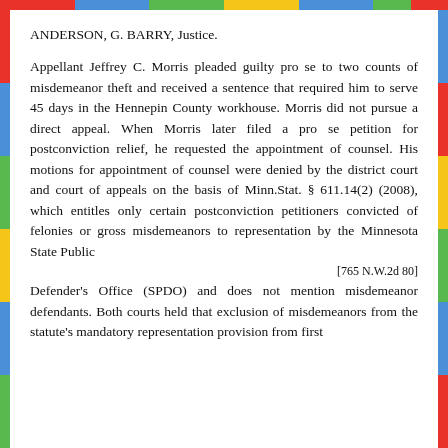ANDERSON, G. BARRY, Justice.
Appellant Jeffrey C. Morris pleaded guilty pro se to two counts of misdemeanor theft and received a sentence that required him to serve 45 days in the Hennepin County workhouse. Morris did not pursue a direct appeal. When Morris later filed a pro se petition for postconviction relief, he requested the appointment of counsel. His motions for appointment of counsel were denied by the district court and court of appeals on the basis of Minn.Stat. § 611.14(2) (2008), which entitles only certain postconviction petitioners convicted of felonies or gross misdemeanors to representation by the Minnesota State Public
[765 N.W.2d 80]
Defender's Office (SPDO) and does not mention misdemeanor defendants. Both courts held that exclusion of misdemeanors from the statute's mandatory representation provision from first